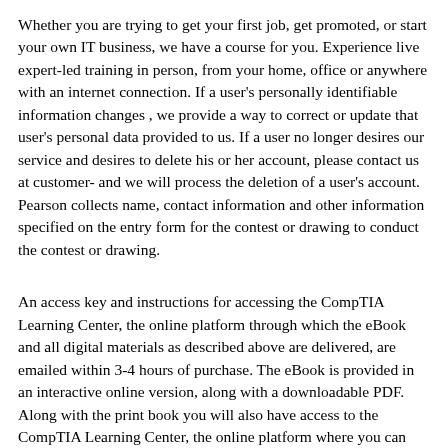Whether you are trying to get your first job, get promoted, or start your own IT business, we have a course for you. Experience live expert-led training in person, from your home, office or anywhere with an internet connection. If a user's personally identifiable information changes , we provide a way to correct or update that user's personal data provided to us. If a user no longer desires our service and desires to delete his or her account, please contact us at customer- and we will process the deletion of a user's account. Pearson collects name, contact information and other information specified on the entry form for the contest or drawing to conduct the contest or drawing.
An access key and instructions for accessing the CompTIA Learning Center, the online platform through which the eBook and all digital materials as described above are delivered, are emailed within 3-4 hours of purchase. The eBook is provided in an interactive online version, along with a downloadable PDF. Along with the print book you will also have access to the CompTIA Learning Center, the online platform where you can access an eBook version of the text with digital materials as described above. The eBook is provided in an interactive online version along with a downloadable PDF.
Click Here For A Free Network+ N10